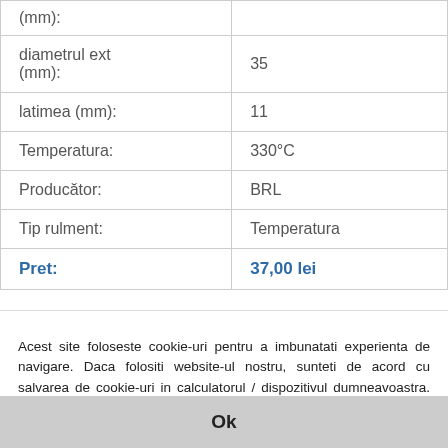| (mm): |  |
| diametrul ext (mm): | 35 |
| latimea (mm): | 11 |
| Temperatura: | 330°C |
| Producător: | BRL |
| Tip rulment: | Temperatura |
| Pret: | 37,00 lei |
Acest site foloseste cookie-uri pentru a imbunatati experienta de navigare. Daca folositi website-ul nostru, sunteti de acord cu salvarea de cookie-uri in calculatorul / dispozitivul dumneavoastra. Pentru mai multe optiuni cu privire la cookies, accesati sectiunea setari a browser-ului dumneavoastra.
Ok